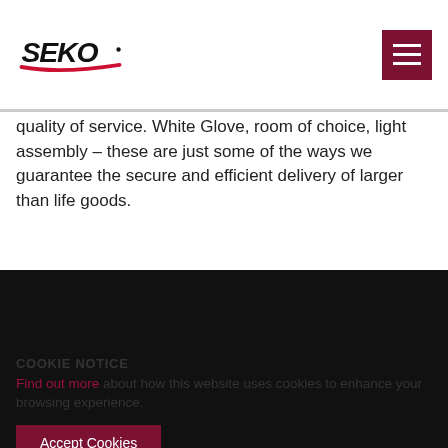SEKO logo and navigation menu
quality of service. White Glove, room of choice, light assembly – these are just some of the ways we guarantee the secure and efficient delivery of larger than life goods.
[Figure (photo): Dark black/near-black rectangular band spanning full width, likely a video or image placeholder]
COOKIE NOTICE
Find out more about how this website uses cookies to enhance your browsing experience.
Accept Cookies